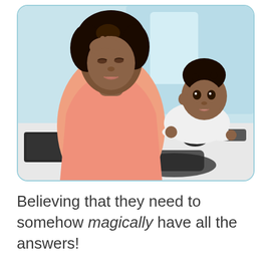[Figure (photo): A stressed Black woman sitting at a desk with a computer keyboard and phone, holding her hand to her forehead with eyes downcast. A baby in a white outfit lies on the desk beside her, looking up at her.]
Believing that they need to somehow magically have all the answers!